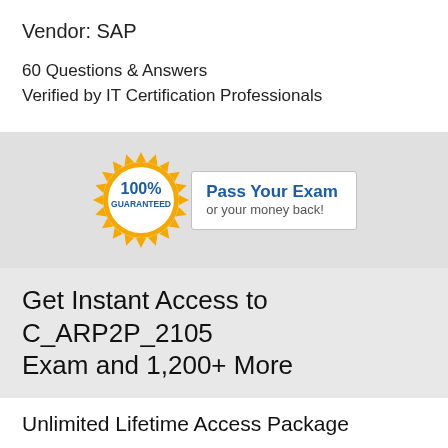Vendor: SAP
60 Questions & Answers
Verified by IT Certification Professionals
[Figure (infographic): Gold sunburst/gear badge with '100% GUARANTEED' text in blue inside a white circle, next to a white box reading 'Pass Your Exam or your money back!']
Get Instant Access to C_ARP2P_2105 Exam and 1,200+ More
Unlimited Lifetime Access Package
Access any exam on the entire Ce-Isareti site for life!
Our $149.00 Unlimited Access Package buys unlimited